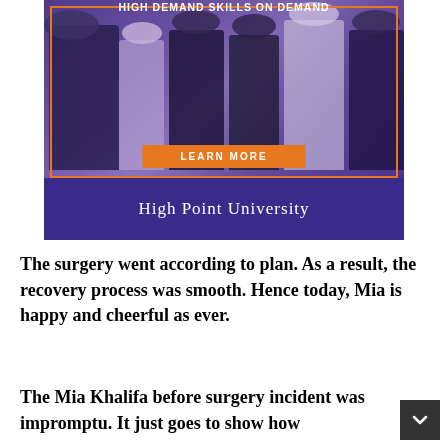[Figure (photo): High Point University advertisement banner with photo of students networking at a career fair, orange 'LEARN MORE' button, and university name on purple background with orange border accent. Text reads 'HIGH DEMAND SKILLS ON DEMAND' at top.]
The surgery went according to plan. As a result, the recovery process was smooth. Hence today, Mia is happy and cheerful as ever.
The Mia Khalifa before surgery incident was impromptu. It just goes to show how